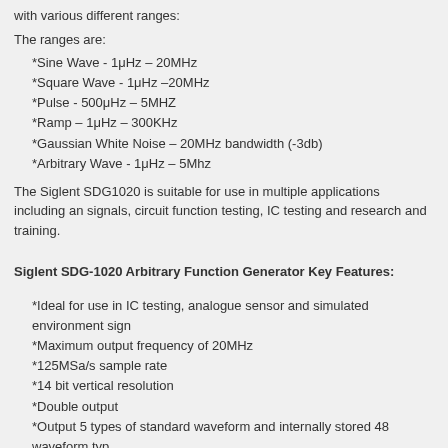with various different ranges:
The ranges are:
*Sine Wave - 1μHz – 20MHz
*Square Wave - 1μHz –20MHz
*Pulse - 500μHz – 5MHZ
*Ramp – 1μHz – 300KHz
*Gaussian White Noise – 20MHz bandwidth (-3db)
*Arbitrary Wave - 1μHz – 5Mhz
The Siglent SDG1020 is suitable for use in multiple applications including an signals, circuit function testing, IC testing and research and training.
Siglent SDG-1020 Arbitrary Function Generator Key Features:
*Ideal for use in IC testing, analogue sensor and simulated environment sign
*Maximum output frequency of 20MHz
*125MSa/s sample rate
*14 bit vertical resolution
*Double output
*Output 5 types of standard waveform and internally stored 48 waveform typ
*Abundant moderation function
*Sweep frequency output